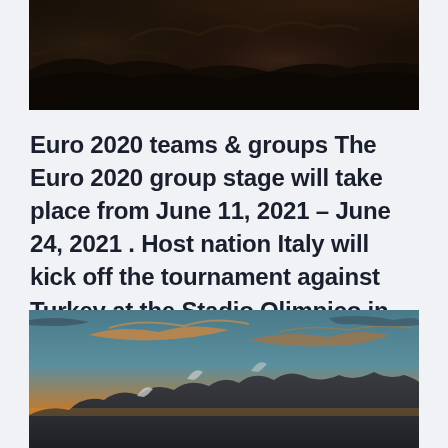[Figure (photo): Dark mountainous landscape photo at top of page, showing rocky terrain in very low light with dark brown and black tones]
Euro 2020 teams & groups The Euro 2020 group stage will take place from June 11, 2021 – June 24, 2021 . Host nation Italy will kick off the tournament against Turkey at the Stadio Olimpico in Rome.
[Figure (photo): Landscape photo showing mountain range at sunset/dusk with dramatic sky, wispy orange clouds against teal-blue sky, snow-capped mountains at bottom, warm golden light on horizon]